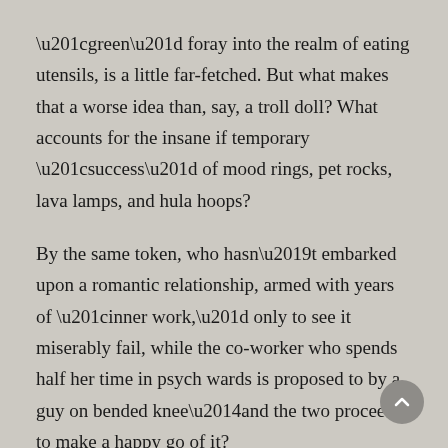“green” foray into the realm of eating utensils, is a little far-fetched. But what makes that a worse idea than, say, a troll doll? What accounts for the insane if temporary “success” of mood rings, pet rocks, lava lamps, and hula hoops?
By the same token, who hasn’t embarked upon a romantic relationship, armed with years of “inner work,” only to see it miserably fail, while the co-worker who spends half her time in psych wards is proposed to by a guy on bended knee—and the two proceed to make a happy go of it?